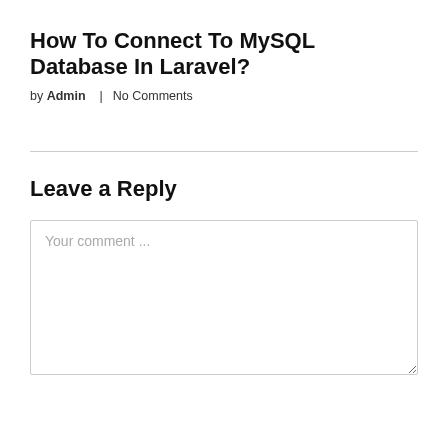How To Connect To MySQL Database In Laravel?
by Admin  |  No Comments
Leave a Reply
[Figure (screenshot): Comment text area with placeholder text 'Your comment ...']